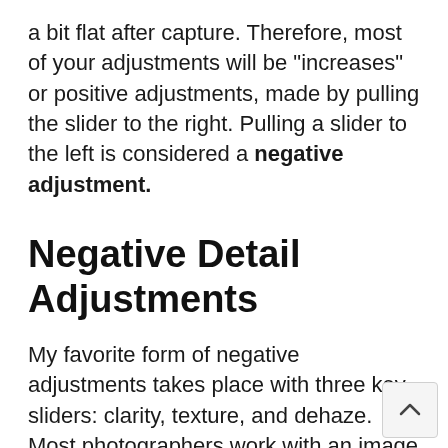a bit flat after capture. Therefore, most of your adjustments will be "increases" or positive adjustments, made by pulling the slider to the right. Pulling a slider to the left is considered a negative adjustment.
Negative Detail Adjustments
My favorite form of negative adjustments takes place with three key sliders: clarity, texture, and dehaze. Most photographers work with an image by turning up these sliders to bring out more detail.